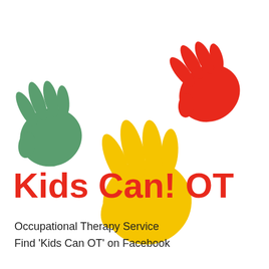[Figure (logo): Three colorful hand silhouettes: a green hand on the left, a large yellow hand in the center, and a red hand in the upper right. Below the hands is the text 'Kids Can! OT' in bold red with subtitle text 'Occupational Therapy Service' and 'Find Kids Can OT on Facebook' in dark/black.]
Kids Can! OT
Occupational Therapy Service
Find 'Kids Can OT' on Facebook